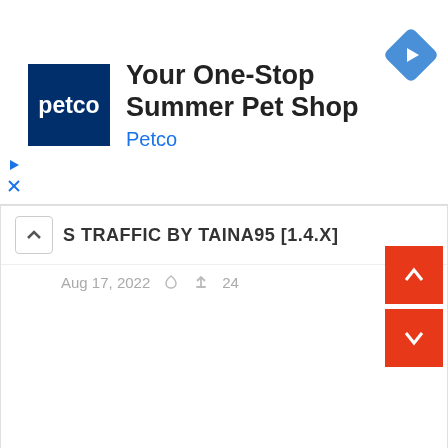[Figure (screenshot): Petco advertisement banner showing logo, title 'Your One-Stop Summer Pet Shop', brand name 'Petco', and a blue navigation diamond icon]
S TRAFFIC BY TAINA95 [1.4.X]
Aug 17, 2022  24
[Figure (screenshot): Two red navigation buttons with up and down chevron arrows on the right side of the page]